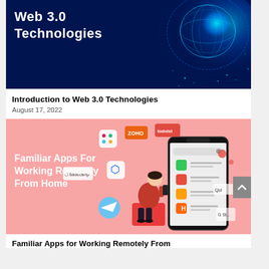[Figure (illustration): Dark navy blue banner with 'Web 3.0 Technologies' text in white bold font on left, and a glowing blue digital globe illustration on the right with light blue particle/network effects.]
Introduction to Web 3.0 Technologies
August 17, 2022
[Figure (illustration): Pink/salmon background banner with white bold text 'Familiar Apps For Working Remotely From Home' on the left. On the right is an illustration of a person sitting on a red cube using a smartphone, surrounded by floating app logo icons (Slack, Zoho, Todoist, Basecamp, Dropbox, and others). A large smartphone mockup shows a home screen with colorful app icons.]
Familiar Apps For Working Remotely From Home